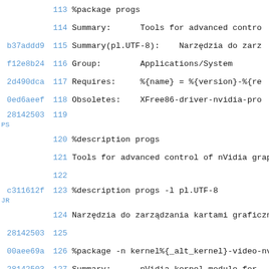113   %package progs
114   Summary:      Tools for advanced contro
b37addd9 115   Summary(pl.UTF-8):     Narzędzia do zarz
f12e8b24 116   Group:        Applications/System
2d490dca 117   Requires:     %{name} = %{version}-%{re
0ed6aeef 118   Obsoletes:    XFree86-driver-nvidia-pro
28142503 119
PS
120   %description progs
121   Tools for advanced control of nVidia grap
122
c311612f 123   %description progs -l pl.UTF-8
JR
124   Narzędzia do zarządzania kartami graficzn
28142503 125
00aee69a 126   %package -n kernel%{_alt_kernel}-video-nv
28142503 127   Summary:      nVidia kernel module for
b37addd9 128   Summary(de.UTF-8):     Das nVidia-Kern-M